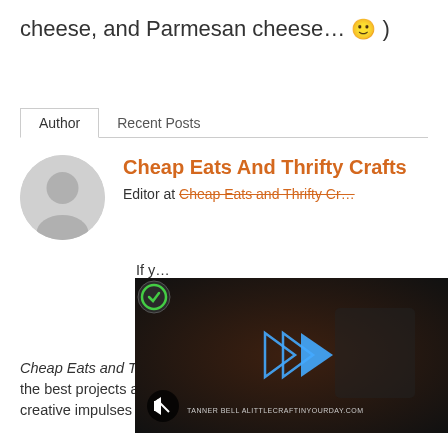cheese, and Parmesan cheese… 🙂 )
Author | Recent Posts
[Figure (illustration): Default gray avatar silhouette of a person, circular crop]
Cheap Eats And Thrifty Crafts
Editor at Cheap Eats and Thrifty Crafts
[Figure (screenshot): Video overlay showing a dark background with a triple-arrow play button in blue, a muted speaker icon circle in the bottom left, and brand text reading TANNER BELL ALITTLECRAFTINYOURDAY.COM]
Cheap Eats and Thrifty Crafts are dedicated to bringing you all the best projects and recipes so that you can satisfy your creative impulses without breaking the bank.